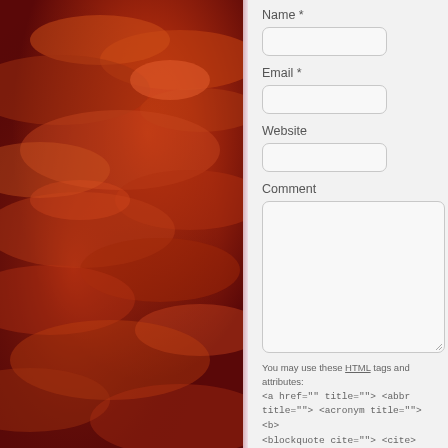[Figure (photo): Red/orange dramatic sunset sky with clouds, used as background on the left side of the page]
Name *
Email *
Website
Comment
You may use these HTML tags and attributes: <a href="" title=""> <abbr title=""> <acronym title=""> <b> <blockquote cite=""> <cite> <code> <del datetime=""> <em> <i> <q cite="">...